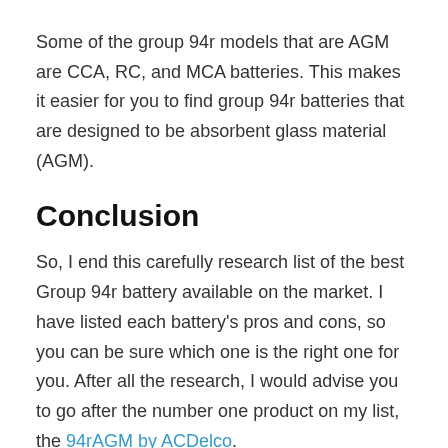Some of the group 94r models that are AGM are CCA, RC, and MCA batteries. This makes it easier for you to find group 94r batteries that are designed to be absorbent glass material (AGM).
Conclusion
So, I end this carefully research list of the best Group 94r battery available on the market. I have listed each battery's pros and cons, so you can be sure which one is the right one for you. After all the research, I would advise you to go after the number one product on my list, the 94rAGM by ACDelco.
It has the most positive reviews and comes with many features for a very decent and competitive price tag. There were also little to no complaints of the manufacturer making